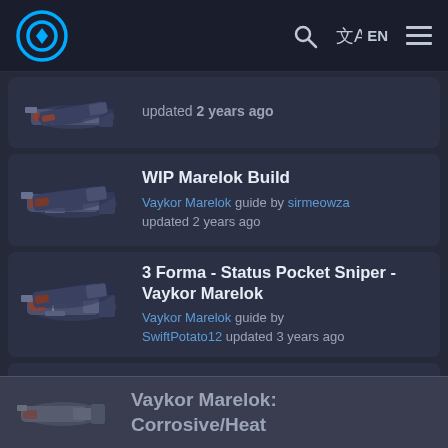EN
updated 2 years ago
WIP Marelok Build
Vaykor Marelok guide by sirmeowza updated 2 years ago
3 Forma - Status Pocket Sniper - Vaykor Marelok
Vaykor Marelok guide by SwiftPotato12 updated 3 years ago
My Ironic Boom Stick - Has Riven
Vaykor Marelok guide by maniac523 updated a year ago
Vaykor Marelok: Corrosive/Heat